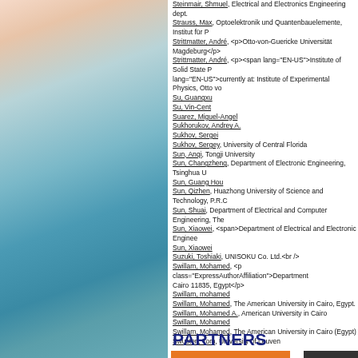[Figure (photo): Ocean/sea waves photograph with warm sky, used as decorative sidebar background]
Steinmair, Shmuel, Electrical and Electronics Engineering dept. [truncated]
Strauss, Max, Optoelektronik und Quantenbauelemente, Institut für P[truncated]
Strittmatter, André, <p>Otto-von-Guericke Universität Magdeburg</p>
Strittmatter, André, <p><span lang="EN-US">Institute of Solid State P...lang="EN-US">currently at: Institute of Experimental Physics, Otto vo
Su, Guangxu
Su, Vin-Cent
Suarez, Miguel-Angel
Sukhorukov, Andrey A.
Sukhov, Sergei
Sukhov, Sergey, University of Central Florida
Sun, Anqi, Tongji University
Sun, Changzheng, Department of Electronic Engineering, Tsinghua U[truncated]
Sun, Guang Hou
Sun, Qizhen, Huazhong University of Science and Technology, P.R.C[truncated]
Sun, Shuai, Department of Electrical and Computer Engineering, The[truncated]
Sun, Xiaowei, <span>Department of Electrical and Electronic Enginee[truncated]
Sun, Xiaowei
Suzuki, Toshiaki, UNISOKU Co. Ltd.<br />
Swillam, Mohamed, <p class="ExpressAuthorAffiliation">Department... Cairo 11835, Egypt</p>
Swillam, mohamed
Swillam, Mohamed, The American University in Cairo, Egypt.
Swillam, Mohamed A., American University in Cairo
Swillam, Mohamed
Swillam, Mohamed, The American University in Cairo (Egypt)
Swusten, Tom, University of Leuven
1 - 140 of 140 Items
PARTNERS